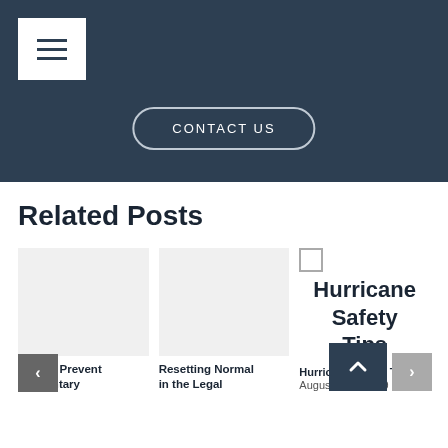[Figure (screenshot): Dark blue header section with hamburger menu icon (white box with three lines) in top left, and a 'CONTACT US' button with rounded border centered lower in the header.]
Related Posts
[Figure (photo): Placeholder image (light gray) for 'How to Prevent Involuntary' post]
How to Prevent Involuntary
[Figure (photo): Placeholder image (light gray) for 'Resetting Normal in the Legal' post]
Resetting Normal in the Legal
Hurricane Safety Tips
Hurricane Safety Tips
August 30th, 2019